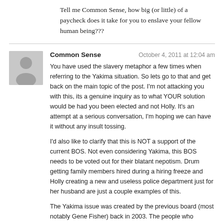Tell me Common Sense, how big (or little) of a paycheck does it take for you to enslave your fellow human being???
Common Sense   October 4, 2011 at 12:04 am

You have used the slavery metaphor a few times when referring to the Yakima situation. So lets go to that and get back on the main topic of the post. I'm not attacking you with this, its a genuine inquiry as to what YOUR solution would be had you been elected and not Holly. It's an attempt at a serious conversation, I'm hoping we can have it without any insult tossing.

I'd also like to clarify that this is NOT a support of the current BOS. Not even considering Yakima, this BOS needs to be voted out for their blatant nepotism. Drum getting family members hired during a hiring freeze and Holly creating a new and useless police department just for her husband are just a couple examples of this.

The Yakima issue was created by the previous board (most notably Gene Fisher) back in 2003. The people who created it were voted out of office. The current board inherited it and the problem. The debate that...